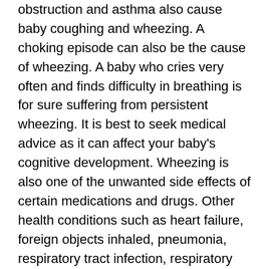obstruction and asthma also cause baby coughing and wheezing. A choking episode can also be the cause of wheezing. A baby who cries very often and finds difficulty in breathing is for sure suffering from persistent wheezing. It is best to seek medical advice as it can affect your baby's cognitive development. Wheezing is also one of the unwanted side effects of certain medications and drugs. Other health conditions such as heart failure, foreign objects inhaled, pneumonia, respiratory tract infection, respiratory syntactical virus, vocal cord dysfunction, and sleep apnea may increase the risk of wheezing. Parents always protect their children from the smoking environment as the protection against wheezing. This is because inhaling smoke directly or indirectly results in wheezing.